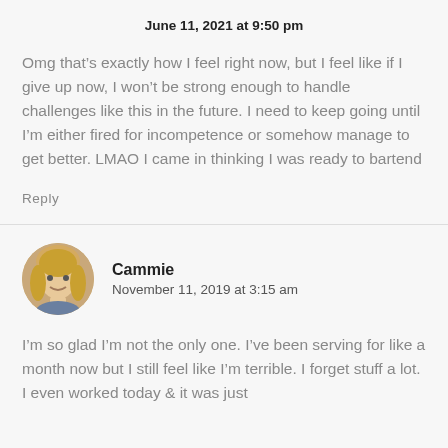June 11, 2021 at 9:50 pm
Omg that’s exactly how I feel right now, but I feel like if I give up now, I won’t be strong enough to handle challenges like this in the future. I need to keep going until I’m either fired for incompetence or somehow manage to get better. LMAO I came in thinking I was ready to bartend
Reply
Cammie
November 11, 2019 at 3:15 am
I’m so glad I’m not the only one. I’ve been serving for like a month now but I still feel like I’m terrible. I forget stuff a lot. I even worked today & it was just